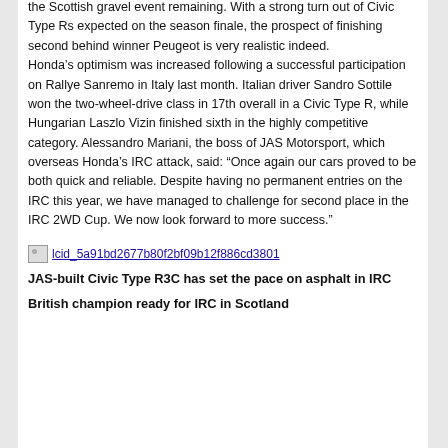the Scottish gravel event remaining. With a strong turn out of Civic Type Rs expected on the season finale, the prospect of finishing second behind winner Peugeot is very realistic indeed.
Honda's optimism was increased following a successful participation on Rallye Sanremo in Italy last month. Italian driver Sandro Sottile won the two-wheel-drive class in 17th overall in a Civic Type R, while Hungarian Laszlo Vizin finished sixth in the highly competitive category. Alessandro Mariani, the boss of JAS Motorsport, which overseas Honda's IRC attack, said: “Once again our cars proved to be both quick and reliable. Despite having no permanent entries on the IRC this year, we have managed to challenge for second place in the IRC 2WD Cup. We now look forward to more success.”
[Figure (other): Broken image placeholder link for lcid_5a91bd2677b80f2bf09b12f886cd3801]
JAS-built Civic Type R3C has set the pace on asphalt in IRC
British champion ready for IRC in Scotland